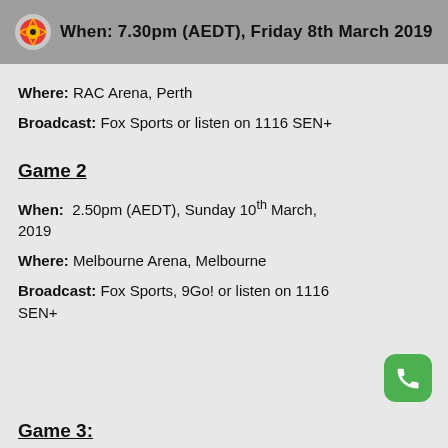When: 7.30pm (AEDT), Friday 8th March 2019
Where: RAC Arena, Perth
Broadcast: Fox Sports or listen on 1116 SEN+
Game 2
When: 2.50pm (AEDT), Sunday 10th March, 2019
Where: Melbourne Arena, Melbourne
Broadcast: Fox Sports, 9Go! or listen on 1116 SEN+
Game 3: